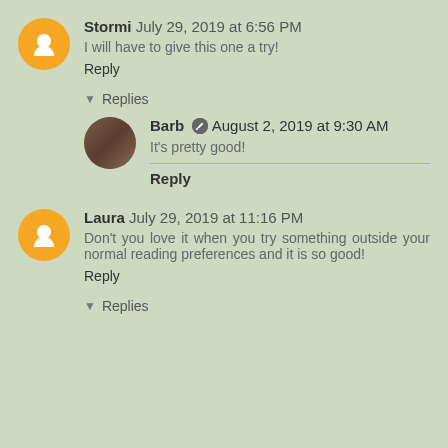Stormi July 29, 2019 at 6:56 PM
I will have to give this one a try!
Reply
Replies
Barb August 2, 2019 at 9:30 AM
It's pretty good!
Reply
Laura July 29, 2019 at 11:16 PM
Don't you love it when you try something outside your normal reading preferences and it is so good!
Reply
Replies